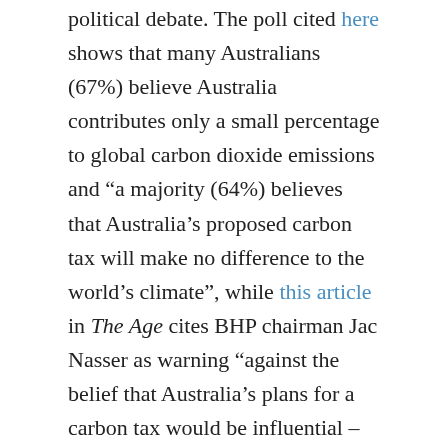political debate. The poll cited here shows that many Australians (67%) believe Australia contributes only a small percentage to global carbon dioxide emissions and “a majority (64%) believes that Australia’s proposed carbon tax will make no difference to the world’s climate”, while this article in The Age cites BHP chairman Jac Nasser as warning “against the belief that Australia’s plans for a carbon tax would be influential – environmentally or diplomatically – on a global scale”.
There are plenty of arguments against this perspective. For one thing, Australia has a far better chance of negotiating multilateral or global agreements which require other countries to take effective action on climate change if we’re taking action ourselves. But even if it didn’t make much of a difference, globally, we